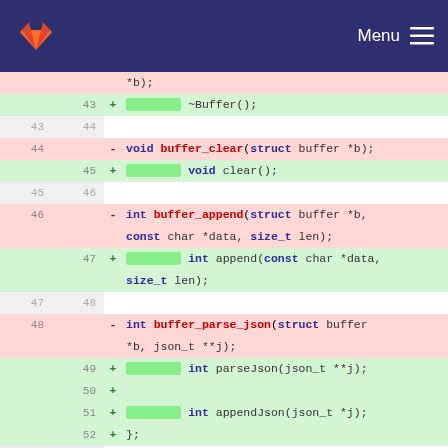GitLab Menu
[Figure (screenshot): Code diff view showing changes from C-style buffer functions to C++ class methods. Removed lines (red) show C functions like buffer_clear, buffer_append, buffer_parse_json, buffer_append_json. Added lines (green) show C++ class methods like ~Buffer(), clear(), append(), parseJson(), appendJson(), and closing };]
*b);
43  +     ~Buffer();
43 44
44    - void buffer_clear(struct buffer *b);
   45  +     void clear();
45 46
46    - int buffer_append(struct buffer *b, const char *data, size_t len);
   47  +     int append(const char *data, size_t len);
47 48
48    - int buffer_parse_json(struct buffer *b, json_t **j);
   49  +     int parseJson(json_t **j);
   50  +
   51  +     int appendJson(json_t *j);
   52  + };
49 53
50    - int buffer_append_json(struct buffer *b, json_t *j);